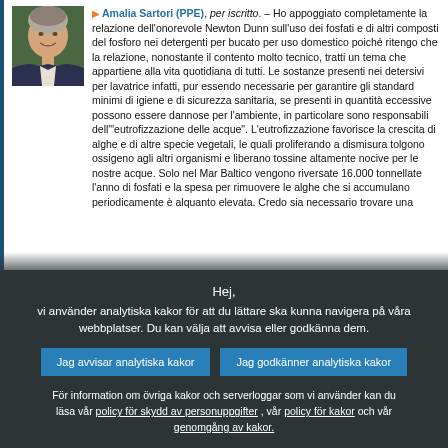[Figure (photo): Portrait photo of Amalia Sartori, a woman with short grey hair smiling, wearing a dark jacket]
▶ Amalia Sartori (PPE), per iscritto. – Ho appoggiato completamente la relazione dell'onorevole Newton Dunn sull'uso dei fosfati e di altri composti del fosforo nei detergenti per bucato per uso domestico poiché ritengo che la relazione, nonostante il contento molto tecnico, tratti un tema che appartiene alla vita quotidiana di tutti. Le sostanze presenti nei detersivi per lavatrice infatti, pur essendo necessarie per garantire gli standard minimi di igiene e di sicurezza sanitaria, se presenti in quantità eccessive possono essere dannose per l'ambiente, in particolare sono responsabili dell'"eutrofizzazione delle acque". L'eutrofizzazione favorisce la crescita di alghe e di altre specie vegetali, le quali proliferando a dismisura tolgono ossigeno agli altri organismi e liberano tossine altamente nocive per le nostre acque. Solo nel Mar Baltico vengono riversate 16.000 tonnellate l'anno di fosfati e la spesa per rimuovere le alghe che si accumulano periodicamente è alquanto elevata. Credo sia necessario trovare una
Hej,
vi använder analytiska kakor för att du lättare ska kunna navigera på våra webbplatser. Du kan välja att avvisa eller godkänna dem.
Jag avvisar analytiska kakor
Jag godkänner analytiska kakor
För information om övriga kakor och serverloggar som vi använder kan du läsa vår policy för skydd av personuppgifter , vår policy för kakor och vår genomgång av kakor.